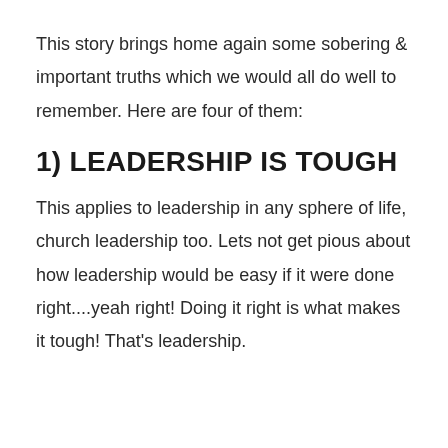This story brings home again some sobering & important truths which we would all do well to remember. Here are four of them:
1) LEADERSHIP IS TOUGH
This applies to leadership in any sphere of life, church leadership too. Lets not get pious about how leadership would be easy if it were done right....yeah right! Doing it right is what makes it tough! That’s leadership.